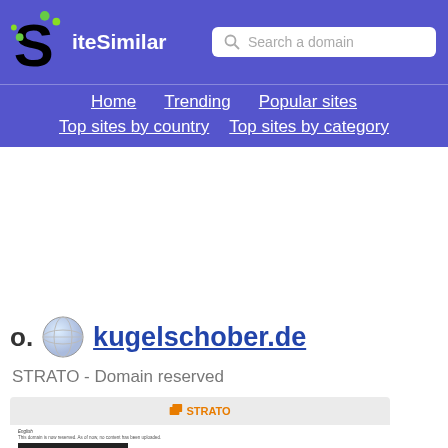SiteSimilar — Search a domain
Home  Trending  Popular sites  Top sites by country  Top sites by category
10. kugelschober.de
STRATO - Domain reserved
[Figure (screenshot): Preview screenshot of kugelschober.de showing STRATO domain reserved page]